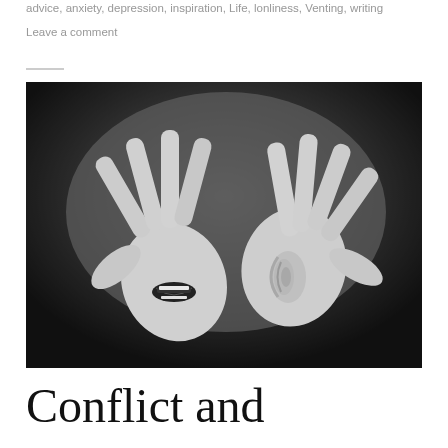advice, anxiety, depression, inspiration, Life, lonliness, Venting, writing
Leave a comment
[Figure (photo): Black and white surrealist photo of two hands with a mouth on one hand shouting and an ear on the other hand listening, set against a dark background.]
Conflict and